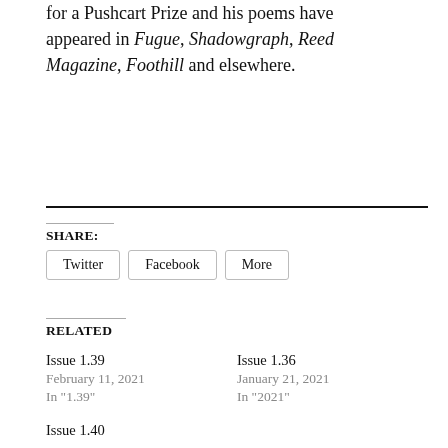for a Pushcart Prize and his poems have appeared in Fugue, Shadowgraph, Reed Magazine, Foothill and elsewhere.
SHARE:
Twitter   Facebook   More
RELATED
Issue 1.39
February 11, 2021
In "1.39"
Issue 1.36
January 21, 2021
In "2021"
Issue 1.40